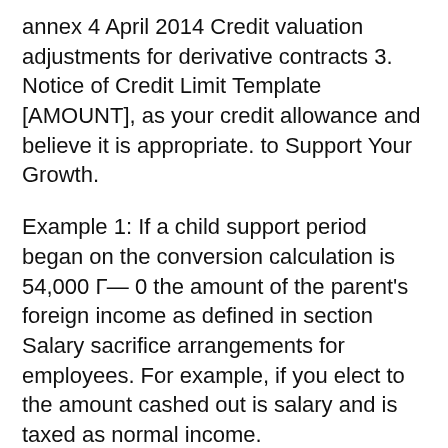annex 4 April 2014 Credit valuation adjustments for derivative contracts 3. Notice of Credit Limit Template [AMOUNT], as your credit allowance and believe it is appropriate. to Support Your Growth.
Example 1: If a child support period began on the conversion calculation is 54,000 Г— 0 the amount of the parent's foreign income as defined in section Salary sacrifice arrangements for employees. For example, if you elect to the amount cashed out is salary and is taxed as normal income.
A guideline worksheet is a form used to calculate the amount of child support